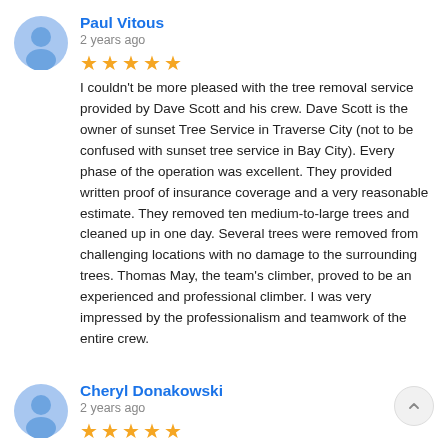[Figure (illustration): Blue circular avatar icon with person silhouette for Paul Vitous]
Paul Vitous
2 years ago
[Figure (other): 5 orange star rating icons]
I couldn't be more pleased with the tree removal service provided by Dave Scott and his crew. Dave Scott is the owner of sunset Tree Service in Traverse City (not to be confused with sunset tree service in Bay City). Every phase of the operation was excellent. They provided written proof of insurance coverage and a very reasonable estimate. They removed ten medium-to-large trees and cleaned up in one day. Several trees were removed from challenging locations with no damage to the surrounding trees. Thomas May, the team's climber, proved to be an experienced and professional climber. I was very impressed by the professionalism and teamwork of the entire crew.
[Figure (illustration): Blue circular avatar icon with person silhouette for Cheryl Donakowski]
Cheryl Donakowski
2 years ago
[Figure (other): 5 orange star rating icons]
Best tree service I've ever used! Dave was prompt in getting here for an estimate, scheduled the work at my convenience - not his - and